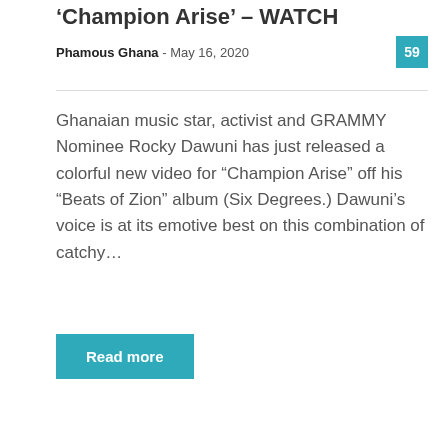Champion Arise – WATCH
Phamous Ghana – May 16, 2020  59
Ghanaian music star, activist and GRAMMY Nominee Rocky Dawuni has just released a colorful new video for “Champion Arise” off his “Beats of Zion” album (Six Degrees.) Dawuni’s voice is at its emotive best on this combination of catchy…
Read more